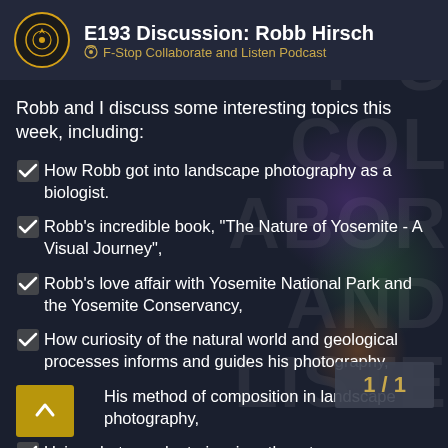E193 Discussion: Robb Hirsch — F-Stop Collaborate and Listen Podcast
Robb and I discuss some interesting topics this week, including:
How Robb got into landscape photography as a biologist.
Robb's incredible book, "The Nature of Yosemite - A Visual Journey",
Robb's love affair with Yosemite National Park and the Yosemite Conservancy,
How curiosity of the natural world and geological processes informs and guides his photography,
His method of composition in landscape photography,
Using photography to inspire others to
1 / 1